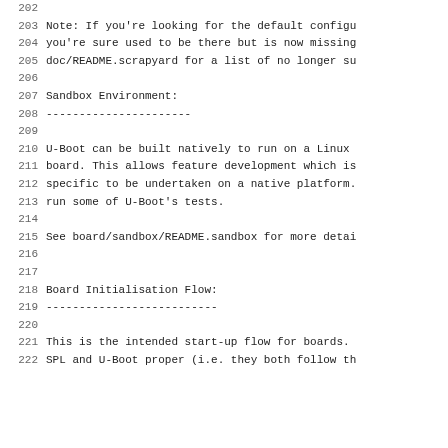202
203   Note: If you're looking for the default configu
204   you're sure used to be there but is now missing
205   doc/README.scrapyard for a list of no longer su
206
207   Sandbox Environment:
208   ----------------------
209
210   U-Boot can be built natively to run on a Linux
211   board. This allows feature development which is
212   specific to be undertaken on a native platform.
213   run some of U-Boot's tests.
214
215   See board/sandbox/README.sandbox for more detai
216
217
218   Board Initialisation Flow:
219   --------------------------
220
221   This is the intended start-up flow for boards.
222   SPL and U-Boot proper (i.e. they both follow th